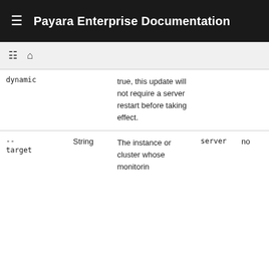Payara Enterprise Documentation
| Name | Type | Description | Default | Dynamic |
| --- | --- | --- | --- | --- |
| dynamic |  | true, this update will not require a server restart before taking effect. |  |  |
| --target | String | The instance or cluster whose monitorin | server | no |